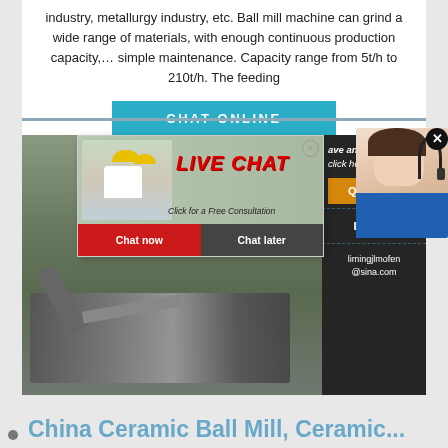industry, metallurgy industry, etc. Ball mill machine can grind a wide range of materials, with enough continuous production capacity,… simple maintenance. Capacity range from 5t/h to 210t/h. The feeding
[Figure (screenshot): Blue 'CHAT ONLINE' button]
[Figure (screenshot): Live chat popup overlay showing workers in hard hats, red LIVE CHAT text, 'Click for a Free Consultation', Chat now and Chat later buttons. Background shows industrial mining machinery. Right sidebar with Quotation and Enquiry buttons and limingjlmofen@sina.com email. Customer service agent photo in top right with close X button.]
China Ceramic Ball Mill, Ceramic...